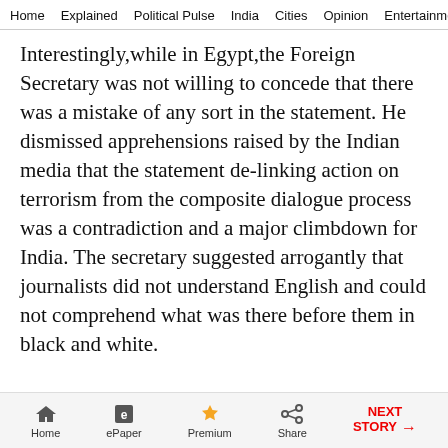Home  Explained  Political Pulse  India  Cities  Opinion  Entertainment
Interestingly,while in Egypt,the Foreign Secretary was not willing to concede that there was a mistake of any sort in the statement. He dismissed apprehensions raised by the Indian media that the statement de-linking action on terrorism from the composite dialogue process was a contradiction and a major climbdown for India. The secretary suggested arrogantly that journalists did not understand English and could not comprehend what was there before them in black and white.
Now,foreign policy,I confess,is not my forte. But even I can figure out that the government has
Home  ePaper  Premium  Share  NEXT STORY